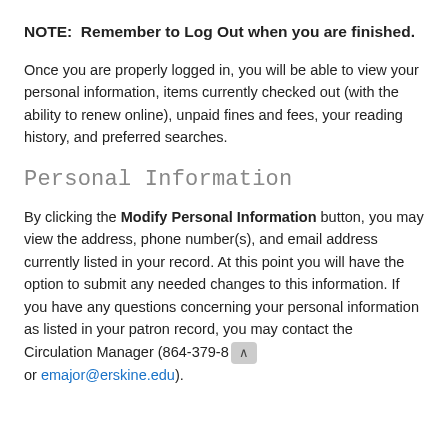NOTE:  Remember to Log Out when you are finished.
Once you are properly logged in, you will be able to view your personal information, items currently checked out (with the ability to renew online), unpaid fines and fees, your reading history, and preferred searches.
Personal Information
By clicking the Modify Personal Information button, you may view the address, phone number(s), and email address currently listed in your record. At this point you will have the option to submit any needed changes to this information. If you have any questions concerning your personal information as listed in your patron record, you may contact the Circulation Manager (864-379-8 or emajor@erskine.edu).